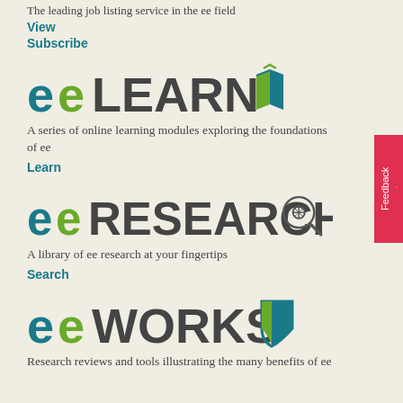The leading job listing service in the ee field
View
Subscribe
[Figure (logo): eeLearn logo with open book icon — 'ee' in teal and green, 'LEARN' in dark gray, book icon in teal/green]
A series of online learning modules exploring the foundations of ee
Learn
[Figure (logo): eeResearch logo with magnifier/network icon — 'ee' in teal and green, 'RESEARCH' in dark gray, research icon]
A library of ee research at your fingertips
Search
[Figure (logo): eeWorks logo with shield icon — 'ee' in teal and green, 'WORKS' in dark gray, shield icon]
Research reviews and tools illustrating the many benefits of ee